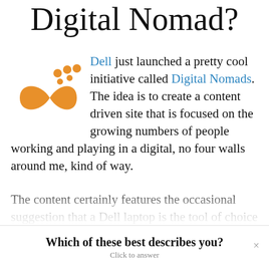Digital Nomad?
[Figure (illustration): Orange footprint/infinity symbol logo for Dell Digital Nomads initiative]
Dell just launched a pretty cool initiative called Digital Nomads. The idea is to create a content driven site that is focused on the growing numbers of people working and playing in a digital, no four walls around me, kind of way.
The content certainly features the occasional suggestion that a Dell laptop is the tool of choice for today's digital
Which of these best describes you? Click to answer